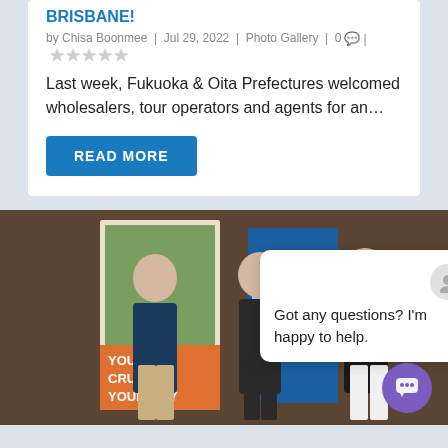by Chisa Boonmee | Jul 29, 2022 | Photo Gallery | 0 | ★★★★★
Last week, Fukuoka & Oita Prefectures welcomed wholesalers, tour operators and agents for an…
READ MORE
[Figure (photo): Photo of people standing in front of travel banner displays including Avalon Waterways cruise banners with text YOUR CRUISE YOUR WAY, with a chat popup overlay saying 'Got any questions? I'm happy to help.' and a purple chat button in the bottom right corner.]